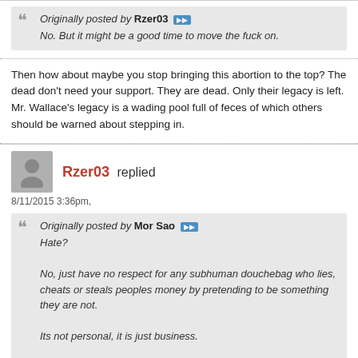Originally posted by Rzer03 ▶▶
No. But it might be a good time to move the fuck on.
Then how about maybe you stop bringing this abortion to the top? The dead don't need your support. They are dead. Only their legacy is left. Mr. Wallace's legacy is a wading pool full of feces of which others should be warned about stepping in.
Rzer03 replied
8/11/2015 3:36pm,
Originally posted by Mor Sao ▶▶
Hate?

No, just have no respect for any subhuman douchebag who lies, cheats or steals peoples money by pretending to be something they are not.

Its not personal, it is just business.

now fuck off back to your hole you forum unsupporting twat.
How cute. +1 for effort.